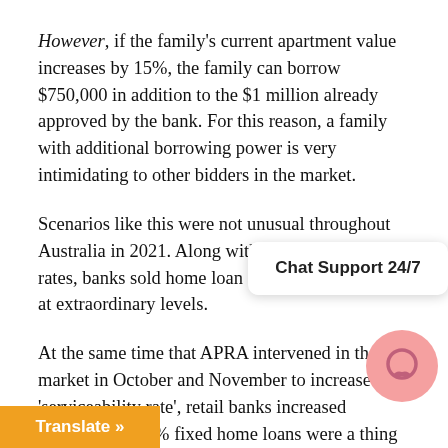However, if the family's current apartment value increases by 15%, the family can borrow $750,000 in addition to the $1 million already approved by the bank. For this reason, a family with additional borrowing power is very intimidating to other bidders in the market.
Scenarios like this were not unusual throughout Australia in 2021. Along with super low interest rates, banks sold home loan debt into the market at extraordinary levels.
At the same time that APRA intervened in the market in October and November to increase the 'serviceability rate', retail banks increased mortgage ... 1.89% fixed home loans were a thing of the past.
APRA and the retail banks were then successful in su... ions in November, while the odd property